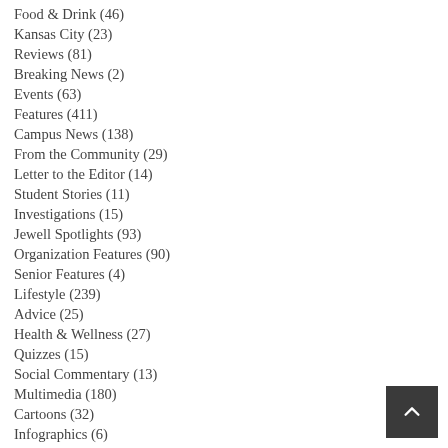Food & Drink (46)
Kansas City (23)
Reviews (81)
Breaking News (2)
Events (63)
Features (411)
Campus News (138)
From the Community (29)
Letter to the Editor (14)
Student Stories (11)
Investigations (15)
Jewell Spotlights (93)
Organization Features (90)
Senior Features (4)
Lifestyle (239)
Advice (25)
Health & Wellness (27)
Quizzes (15)
Social Commentary (13)
Multimedia (180)
Cartoons (32)
Infographics (6)
Photo Features (110)
Perspectives (579)